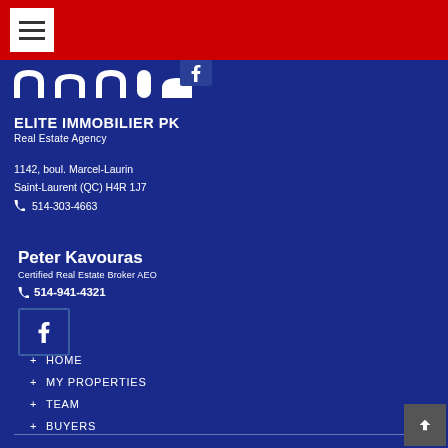[Figure (logo): Hamburger menu button (white square with three horizontal lines) on red top bar]
[Figure (logo): Partial logo arches/silhouettes in white on blue background, with a Facebook icon square top right]
ELITE IMMOBILIER PK
Real Estate Agency
1142, boul. Marcel-Laurin
Saint-Laurent (QC) H4R 1J7
📞 514-303-4663
Peter Kavouras
Certified Real Estate Broker AEO
📞 514-941-4321
[Figure (logo): Facebook icon button (white f on dark blue square with border)]
+ HOME
+ MY PROPERTIES
+ TEAM
+ BUYERS